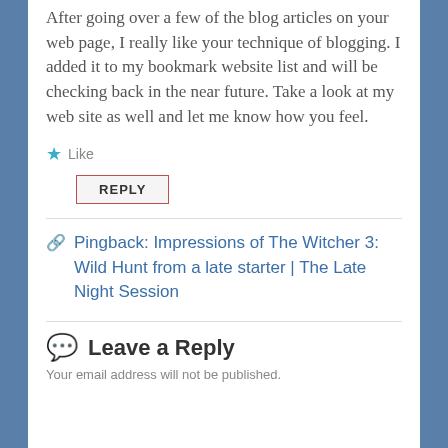After going over a few of the blog articles on your web page, I really like your technique of blogging. I added it to my bookmark website list and will be checking back in the near future. Take a look at my web site as well and let me know how you feel.
★ Like
REPLY
Pingback: Impressions of The Witcher 3: Wild Hunt from a late starter | The Late Night Session
Leave a Reply